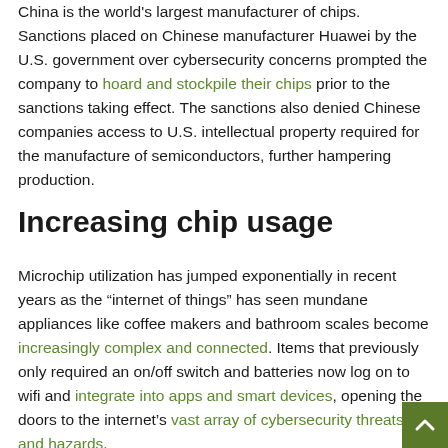China is the world's largest manufacturer of chips. Sanctions placed on Chinese manufacturer Huawei by the U.S. government over cybersecurity concerns prompted the company to hoard and stockpile their chips prior to the sanctions taking effect. The sanctions also denied Chinese companies access to U.S. intellectual property required for the manufacture of semiconductors, further hampering production.
Increasing chip usage
Microchip utilization has jumped exponentially in recent years as the “internet of things” has seen mundane appliances like coffee makers and bathroom scales become increasingly complex and connected. Items that previously only required an on/off switch and batteries now log on to wifi and integrate into apps and smart devices, opening the doors to the internet’s vast array of cybersecurity threats and hazards.